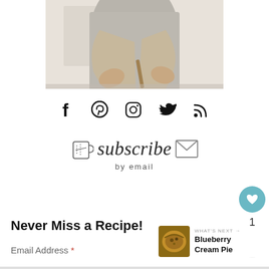[Figure (photo): Person stirring or mixing food ingredients in a kitchen, wearing a grey top, upper body visible]
[Figure (infographic): Social media icons: Facebook, Pinterest, Instagram, Twitter, RSS feed]
[Figure (illustration): Decorative subscribe by email graphic with cursive text, measuring cup icon and envelope icon]
Never Miss a Recipe!
Email Address *
WHAT'S NEXT → Blueberry Cream Pie